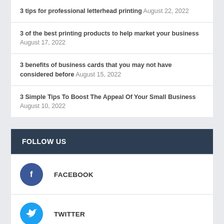3 tips for professional letterhead printing August 22, 2022
3 of the best printing products to help market your business August 17, 2022
3 benefits of business cards that you may not have considered before August 15, 2022
3 Simple Tips To Boost The Appeal Of Your Small Business August 10, 2022
FOLLOW US
FACEBOOK
TWITTER